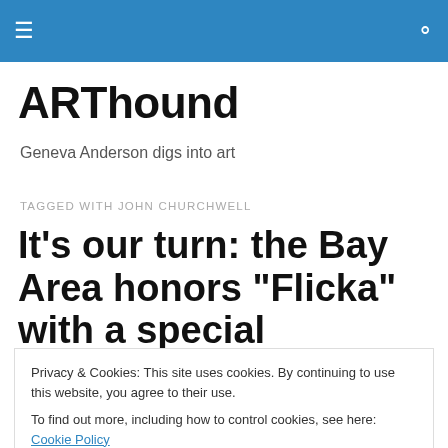ARThound [navigation header with hamburger menu and search icon]
ARThound
Geneva Anderson digs into art
TAGGED WITH JOHN CHURCHWELL
It’s our turn: the Bay Area honors “Flicka” with a special
Privacy & Cookies: This site uses cookies. By continuing to use this website, you agree to their use.
To find out more, including how to control cookies, see here: Cookie Policy
Close and accept